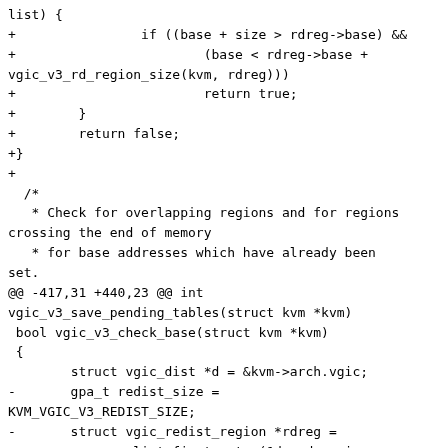list) {
+                if ((base + size > rdreg->base) &&
+                        (base < rdreg->base +
vgic_v3_rd_region_size(kvm, rdreg)))
+                        return true;
+        }
+        return false;
+}
+
  /*
   * Check for overlapping regions and for regions crossing the end of memory
   * for base addresses which have already been set.
@@ -417,31 +440,23 @@ int vgic_v3_save_pending_tables(struct kvm *kvm)
 bool vgic_v3_check_base(struct kvm *kvm)
 {
        struct vgic_dist *d = &kvm->arch.vgic;
-       gpa_t redist_size =
KVM_VGIC_V3_REDIST_SIZE;
-       struct vgic_redist_region *rdreg =
-               list_first_entry(&d->rd_regions,
-                               struct
vgic_redist_region, list);
-
-       redist_size *= atomic_read(&kvm->online_vcpus);
+       struct vgic_redist_region *rdreg;

        if (!IS_VGIC_ADDR_UNDEF(d->vgic_dist_base)